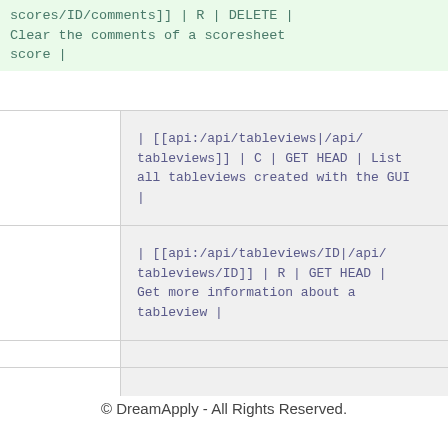scores/ID/comments]] | R | DELETE | Clear the comments of a scoresheet score |
| [[api:/api/tableviews|/api/tableviews]] | C | GET HEAD | List all tableviews created with the GUI |
| [[api:/api/tableviews/ID|/api/tableviews/ID]] | R | GET HEAD | Get more information about a tableview |
© DreamApply - All Rights Reserved.